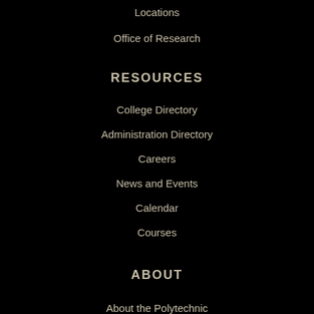Locations
Office of Research
RESOURCES
College Directory
Administration Directory
Careers
News and Events
Calendar
Courses
ABOUT
About the Polytechnic
Data Dashboard